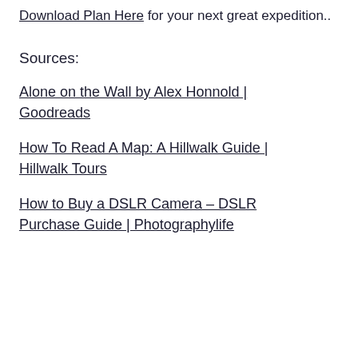Download Plan Here for your next great expedition..
Sources:
Alone on the Wall by Alex Honnold | Goodreads
How To Read A Map: A Hillwalk Guide | Hillwalk Tours
How to Buy a DSLR Camera – DSLR Purchase Guide | Photographylife